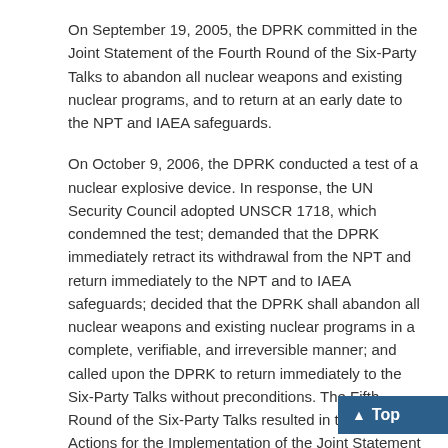On September 19, 2005, the DPRK committed in the Joint Statement of the Fourth Round of the Six-Party Talks to abandon all nuclear weapons and existing nuclear programs, and to return at an early date to the NPT and IAEA safeguards.
On October 9, 2006, the DPRK conducted a test of a nuclear explosive device. In response, the UN Security Council adopted UNSCR 1718, which condemned the test; demanded that the DPRK immediately retract its withdrawal from the NPT and return immediately to the NPT and to IAEA safeguards; decided that the DPRK shall abandon all nuclear weapons and existing nuclear programs in a complete, verifiable, and irreversible manner; and called upon the DPRK to return immediately to the Six-Party Talks without preconditions. The Fifth Round of the Six-Party Talks resulted in the Initial Actions for the Implementation of the Joint Statement on February 13, 2007, which stipulated the following: the DPRK committed to shut down and seal, for the purpose of eventual abandonment, the Yongbyon nuclear